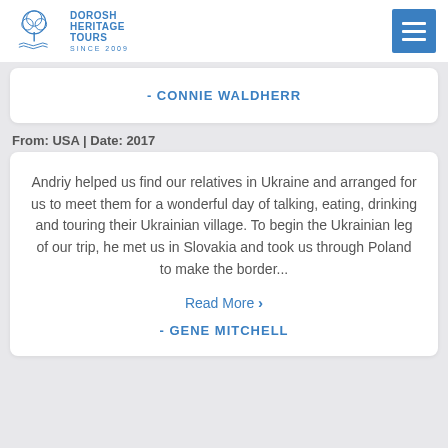DOROSH HERITAGE TOURS SINCE 2009
- CONNIE WALDHERR
From: USA | Date: 2017
Andriy helped us find our relatives in Ukraine and arranged for us to meet them for a wonderful day of talking, eating, drinking and touring their Ukrainian village. To begin the Ukrainian leg of our trip, he met us in Slovakia and took us through Poland to make the border...
Read More ›
- GENE MITCHELL